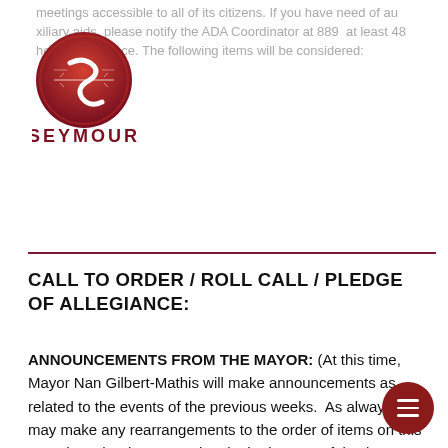meetings accessible to all of its citizens. If you have need of auxiliary aids, please notify the ADA Coordinator at 889 at least 48 hours in advance. The following items will be considered:
[Figure (logo): Seymour Texas city logo — red circular seal with stylized S and barbed wire, text SEYMOUR TEXAS below]
CALL TO ORDER / ROLL CALL / PLEDGE OF ALLEGIANCE:
ANNOUNCEMENTS FROM THE MAYOR: (At this time, Mayor Nan Gilbert-Mathis will make announcements as related to the events of the previous weeks. As always he may make any rearrangements to the order of items on this agenda as he deems prudent in the interest of time).